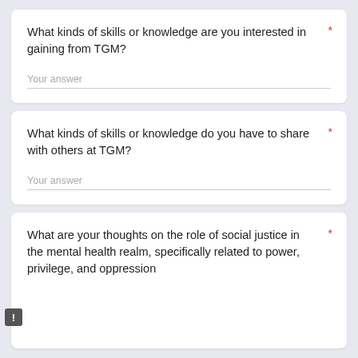What kinds of skills or knowledge are you interested in gaining from TGM?
Your answer
What kinds of skills or knowledge do you have to share with others at TGM?
Your answer
What are your thoughts on the role of social justice in the mental health realm, specifically related to power, privilege, and oppression